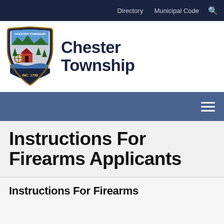Directory   Municipal Code   🔍
[Figure (logo): Chester Township shield logo with text 'Chester Township']
Instructions For Firearms Applicants
Instructions For Firearms